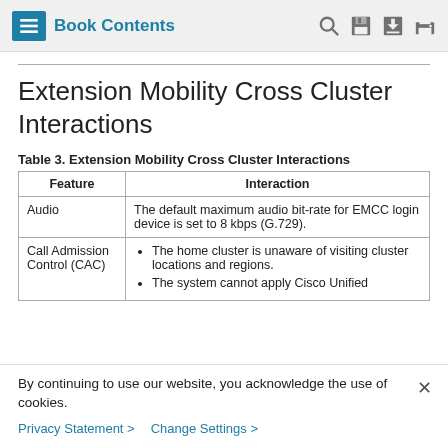Book Contents
Extension Mobility Cross Cluster Interactions
Table 3. Extension Mobility Cross Cluster Interactions
| Feature | Interaction |
| --- | --- |
| Audio | The default maximum audio bit-rate for EMCC login device is set to 8 kbps (G.729). |
| Call Admission Control (CAC) | • The home cluster is unaware of visiting cluster locations and regions.
• The system cannot apply Cisco Unified |
By continuing to use our website, you acknowledge the use of cookies.
Privacy Statement > Change Settings >